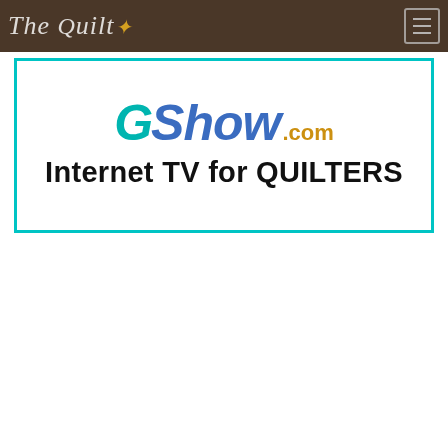The Quilt Show
[Figure (logo): The Quilt Show website banner: GShow.com logo with teal G, blue 'Show', gold '.com', and tagline 'Internet TV for QUILTERS' in bold black text inside a teal-bordered white box]